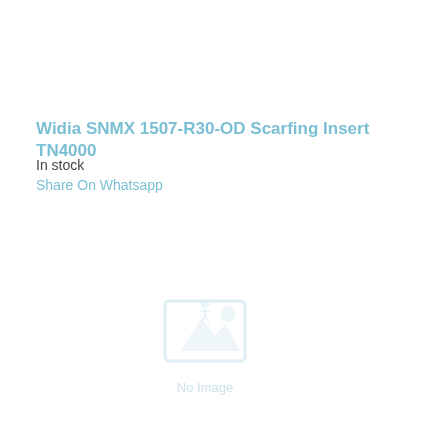Widia SNMX 1507-R30-OD Scarfing Insert TN4000
In stock
Share On Whatsapp
[Figure (illustration): No Image placeholder with mountain/image icon and 'No Image' label]